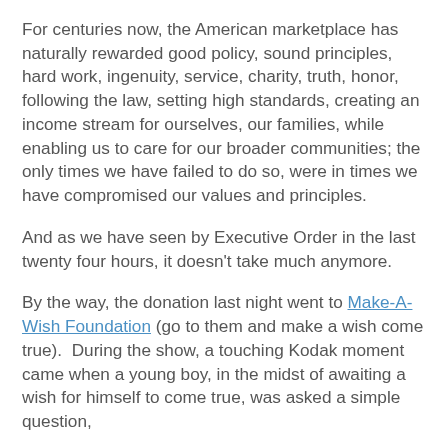For centuries now, the American marketplace has naturally rewarded good policy, sound principles, hard work, ingenuity, service, charity, truth, honor, following the law, setting high standards, creating an income stream for ourselves, our families, while enabling us to care for our broader communities; the only times we have failed to do so, were in times we have compromised our values and principles.
And as we have seen by Executive Order in the last twenty four hours, it doesn't take much anymore.
By the way, the donation last night went to Make-A-Wish Foundation (go to them and make a wish come true).  During the show, a touching Kodak moment came when a young boy, in the midst of awaiting a wish for himself to come true, was asked a simple question,
"what are you gonna do when you grow up?"
He answered with this, with a look on his face worth a thousand words,